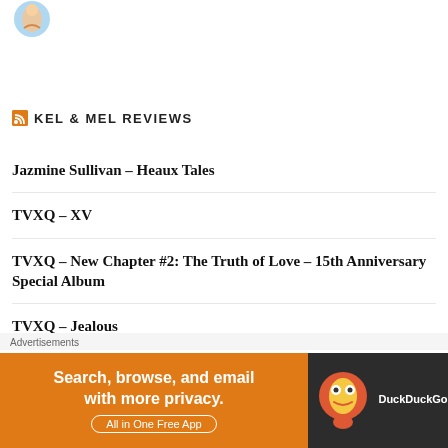[Figure (illustration): Small circular logo/illustration at top left corner of the page]
KEL & MEL REVIEWS
Jazmine Sullivan – Heaux Tales
TVXQ – XV
TVXQ – New Chapter #2: The Truth of Love – 15th Anniversary Special Album
TVXQ – Jealous
EXO – Don't Mess Up My Tempo (Album Stream)
Advertisements
[Figure (screenshot): DuckDuckGo advertisement banner: 'Search, browse, and email with more privacy. All in One Free App' with DuckDuckGo logo on dark background]